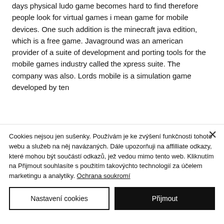days physical ludo game becomes hard to find therefore people look for virtual games i mean game for mobile devices. One such addition is the minecraft java edition, which is a free game. Javaground was an american provider of a suite of development and porting tools for the mobile games industry called the xpress suite. The company was also. Lords mobile is a simulation game developed by ten
Cookies nejsou jen sušenky. Používám je ke zvýšení funkčnosti tohoto webu a služeb na něj navázaných. Dále upozorňuji na affilliate odkazy, které mohou být součástí odkazů, jež vedou mimo tento web. Kliknutím na Přijmout souhlasíte s použitím takovýchto technologií za účelem marketingu a analytiky. Ochrana soukromí
Nastavení cookies
Přijmout